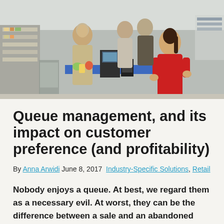[Figure (photo): Supermarket checkout scene with cashier in red shirt and customers at register]
Queue management, and its impact on customer preference (and profitability)
By Anna Arwidi June 8, 2017 Industry-Specific Solutions, Retail
Nobody enjoys a queue. At best, we regard them as a necessary evil. At worst, they can be the difference between a sale and an abandoned